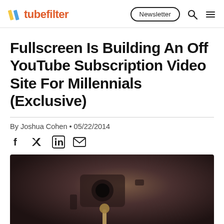tubefilter | Newsletter
Fullscreen Is Building An Off YouTube Subscription Video Site For Millennials (Exclusive)
By Joshua Cohen • 05/22/2014
[Figure (photo): Dark photograph showing what appears to be camera or video equipment in low light]
Social share icons: Facebook, Twitter, LinkedIn, Email